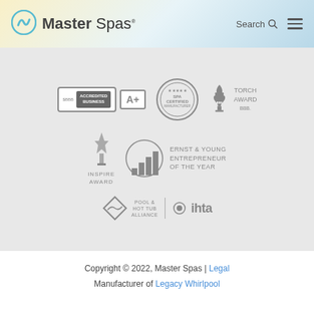Master Spas | Search | Menu
[Figure (logo): Master Spas logo with teal swirl icon and wordmark]
[Figure (infographic): Awards and certifications section: BBB Accredited Business A+, Spa Certified Manufacturer, BBB Torch Award, Inspire Award, Ernst & Young Entrepreneur of the Year, Pool & Hot Tub Alliance, IHTA]
Copyright © 2022, Master Spas | Legal
Manufacturer of Legacy Whirlpool
Made in the USA